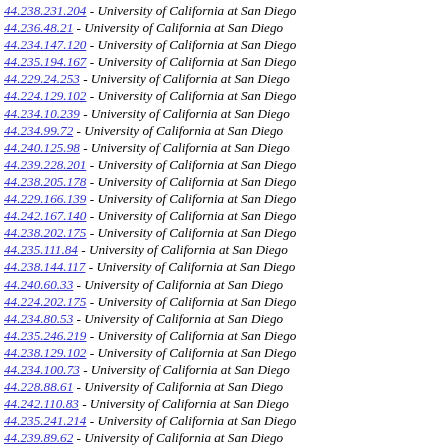44.238.231.204 - University of California at San Diego
44.236.48.21 - University of California at San Diego
44.234.147.120 - University of California at San Diego
44.235.194.167 - University of California at San Diego
44.229.24.253 - University of California at San Diego
44.224.129.102 - University of California at San Diego
44.234.10.239 - University of California at San Diego
44.234.99.72 - University of California at San Diego
44.240.125.98 - University of California at San Diego
44.239.228.201 - University of California at San Diego
44.238.205.178 - University of California at San Diego
44.229.166.139 - University of California at San Diego
44.242.167.140 - University of California at San Diego
44.238.202.175 - University of California at San Diego
44.235.111.84 - University of California at San Diego
44.238.144.117 - University of California at San Diego
44.240.60.33 - University of California at San Diego
44.224.202.175 - University of California at San Diego
44.234.80.53 - University of California at San Diego
44.235.246.219 - University of California at San Diego
44.238.129.102 - University of California at San Diego
44.234.100.73 - University of California at San Diego
44.228.88.61 - University of California at San Diego
44.242.110.83 - University of California at San Diego
44.235.241.214 - University of California at San Diego
44.239.89.62 - University of California at San Diego
44.236.105.78 - University of California at San Diego
44.240.1.230 - University of California at San Diego
44.232.249.222 - University of California at San Diego
44.227.224.197 - University of California at San Diego